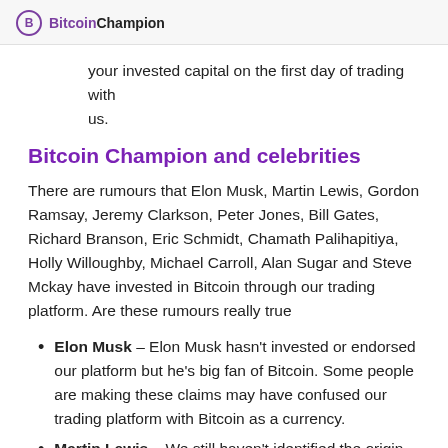BitcoinChampion
your invested capital on the first day of trading with us.
Bitcoin Champion and celebrities
There are rumours that Elon Musk, Martin Lewis, Gordon Ramsay, Jeremy Clarkson, Peter Jones, Bill Gates, Richard Branson, Eric Schmidt, Chamath Palihapitiya, Holly Willoughby, Michael Carroll, Alan Sugar and Steve Mckay have invested in Bitcoin through our trading platform. Are these rumours really true
Elon Musk – Elon Musk hasn't invested or endorsed our platform but he's big fan of Bitcoin. Some people are making these claims may have confused our trading platform with Bitcoin as a currency.
Martin Lewis – We still haven't identified the origin